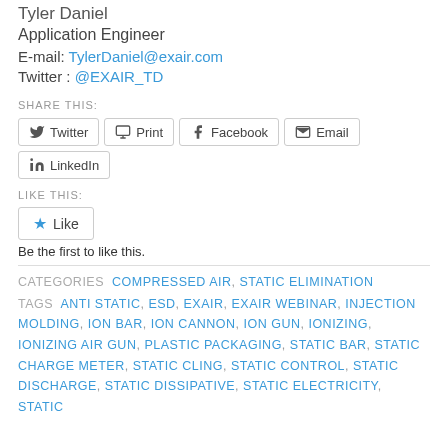Tyler Daniel
Application Engineer
E-mail: TylerDaniel@exair.com
Twitter : @EXAIR_TD
SHARE THIS:
Twitter  Print  Facebook  Email  LinkedIn
LIKE THIS:
Like
Be the first to like this.
CATEGORIES COMPRESSED AIR, STATIC ELIMINATION
TAGS ANTI STATIC, ESD, EXAIR, EXAIR WEBINAR, INJECTION MOLDING, ION BAR, ION CANNON, ION GUN, IONIZING, IONIZING AIR GUN, PLASTIC PACKAGING, STATIC BAR, STATIC CHARGE METER, STATIC CLING, STATIC CONTROL, STATIC DISCHARGE, STATIC DISSIPATIVE, STATIC ELECTRICITY, STATIC